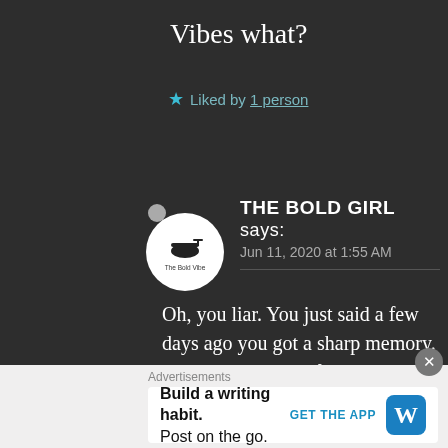Vibes what?
★ Liked by 1 person
[Figure (logo): The Bold Girl blog logo — circular avatar with helicopter/bird icon and text 'The Bold Vibe']
THE BOLD GIRL says:
Jun 11, 2020 at 1:55 AM
Oh, you liar. You just said a few days ago you got a sharp memory. And here, you just forgot what we just spoke. 🤷 The vibes I felt about you… The thing that we just spoke
Advertisements
Build a writing habit.
Post on the go.
GET THE APP